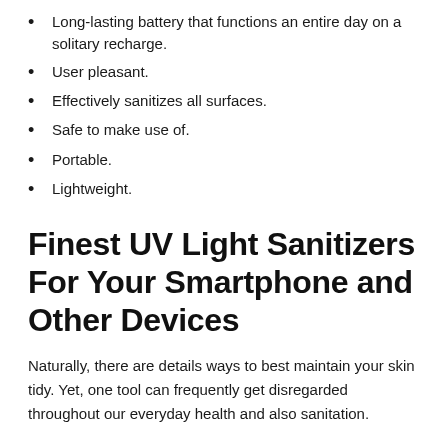Long-lasting battery that functions an entire day on a solitary recharge.
User pleasant.
Effectively sanitizes all surfaces.
Safe to make use of.
Portable.
Lightweight.
Finest UV Light Sanitizers For Your Smartphone and Other Devices
Naturally, there are details ways to best maintain your skin tidy. Yet, one tool can frequently get disregarded throughout our everyday health and also sanitation.